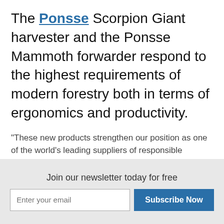The Ponsse Scorpion Giant harvester and the Ponsse Mammoth forwarder respond to the highest requirements of modern forestry both in terms of ergonomics and productivity.
"These new products strengthen our position as one of the world's leading suppliers of responsible harvesting solutions," said Marko Mattila, sales, marketing and service director at Ponsse.
"The development of both new forest machines
Join our newsletter today for free
Enter your email [input field] Subscribe Now [button]